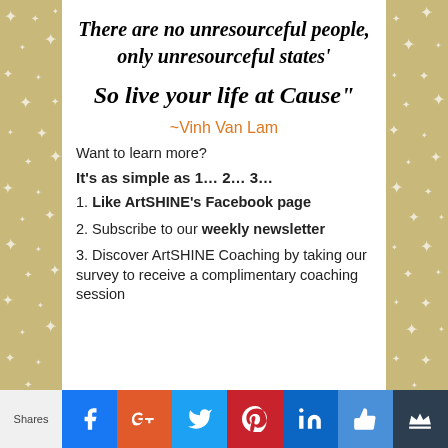There are no unresourceful people, only unresourceful states'
So live your life at Cause"
~Vinh Van Lam
Want to learn more?
It's as simple as 1… 2… 3…
1. Like ArtSHINE's Facebook page
2. Subscribe to our weekly newsletter
3. Discover ArtSHINE Coaching by taking our survey to receive a complimentary coaching session
[Figure (infographic): Social share bar with Shares label, Facebook, Google+, Twitter, Pinterest, LinkedIn, Like, and crown icons]